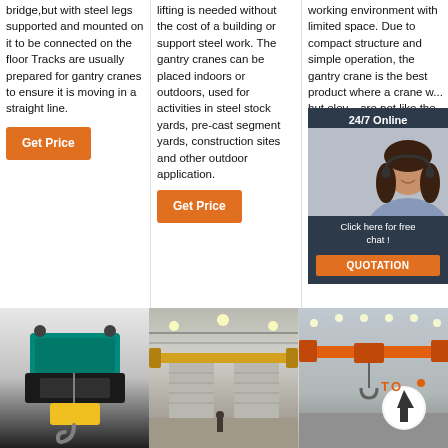bridge, but with steel legs supported and mounted on it to be connected on the floor Tracks are usually prepared for gantry cranes to ensure it is moving in a straight line.
Get Price
lifting is needed without the cost of a building or support steel work. The gantry cranes can be placed indoors or outdoors, used for activities in steel stock yards, pre-cast segment yards, construction sites and other outdoor application.
Get Price
working environment with limited space. Due to compact structure and simple operation, the gantry crane is the best product where a crane w... but elev... are not ... like the ...
Get P...
[Figure (infographic): 24/7 Online chat widget with woman customer service representative, showing 'Click here for free chat!' and QUOTATION button in dark blue/orange overlay]
[Figure (photo): Industrial electric hoist/wire rope hoist with green motor housing and yellow hook block on white background]
[Figure (photo): Interior of a large industrial warehouse with overhead single-girder crane on yellow beam]
[Figure (photo): Industrial facility with orange overhead bridge crane and TOP arrow logo overlay]